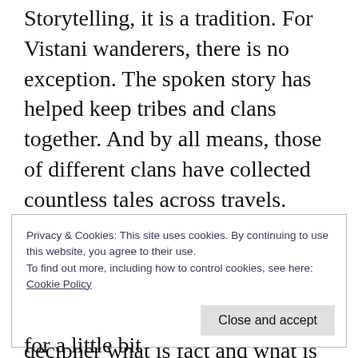Storytelling, it is a tradition. For Vistani wanderers, there is no exception. The spoken story has helped keep tribes and clans together. And by all means, those of different clans have collected countless tales across travels. Some speak of taboos, others of strange secrets, others purely bizarre. Tonight, you are invited to hear some of these tales and decipher what is fact and what is mere myth peddled along for entertainment.
Privacy & Cookies: This site uses cookies. By continuing to use this website, you agree to their use.
To find out more, including how to control cookies, see here:
Cookie Policy
Close and accept
for a little bit